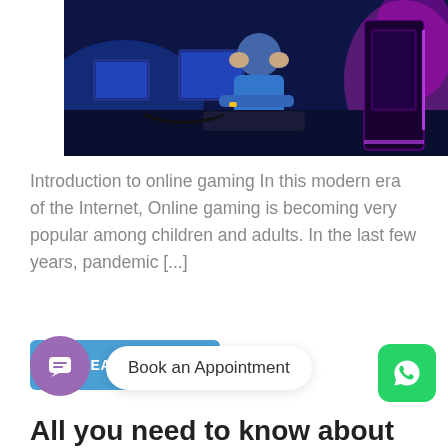[Figure (photo): A person sitting at a computer desk in a dark gaming room with blue and purple neon lighting, head in hands, appearing stressed or frustrated.]
Introduction to online gaming In this modern era of the Internet, Online gaming is becoming very popular among children and adults. In the last few years, pandemic [...]
READ MORE
Book an Appointment
All you need to know about